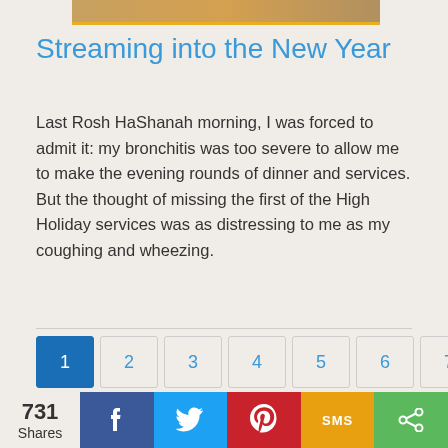[Figure (photo): Partial top image cropped at the top of the page, showing people at what appears to be a celebration or event with warm tones]
Streaming into the New Year
Last Rosh HaShanah morning, I was forced to admit it: my bronchitis was too severe to allow me to make the evening rounds of dinner and services. But the thought of missing the first of the High Holiday services was as distressing to me as my coughing and wheezing.
Pagination: 1 2 3 4 5 6 7 8 9 ... › Last »
731 Shares